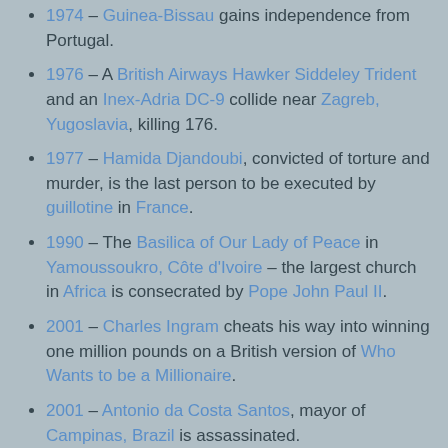1974 – Guinea-Bissau gains independence from Portugal.
1976 – A British Airways Hawker Siddeley Trident and an Inex-Adria DC-9 collide near Zagreb, Yugoslavia, killing 176.
1977 – Hamida Djandoubi, convicted of torture and murder, is the last person to be executed by guillotine in France.
1990 – The Basilica of Our Lady of Peace in Yamoussoukro, Côte d'Ivoire – the largest church in Africa is consecrated by Pope John Paul II.
2001 – Charles Ingram cheats his way into winning one million pounds on a British version of Who Wants to be a Millionaire.
2001 – Antonio da Costa Santos, mayor of Campinas, Brazil is assassinated.
2002 – Switzerland, traditionally a neutral country, joins the United Nations.
2003 – Anna Lindh, the foreign minister of Sweden, is fatally stabbed while shopping, and